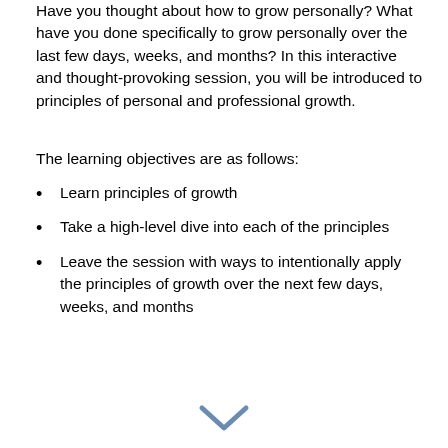Have you thought about how to grow personally? What have you done specifically to grow personally over the last few days, weeks, and months? In this interactive and thought-provoking session, you will be introduced to principles of personal and professional growth.
The learning objectives are as follows:
Learn principles of growth
Take a high-level dive into each of the principles
Leave the session with ways to intentionally apply the principles of growth over the next few days, weeks, and months